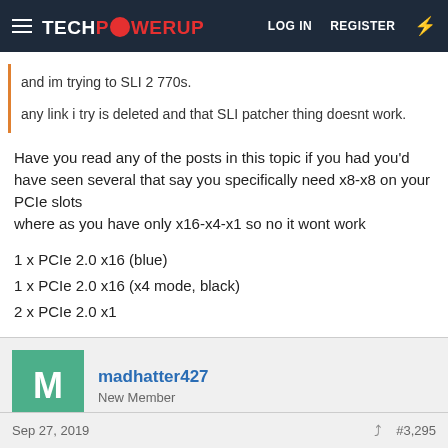TECHPOWERUP — LOG IN   REGISTER
and im trying to SLI 2 770s.

any link i try is deleted and that SLI patcher thing doesnt work.
Have you read any of the posts in this topic if you had you'd have seen several that say you specifically need x8-x8 on your PCIe slots
where as you have only x16-x4-x1 so no it wont work

1 x PCIe 2.0 x16 (blue)
1 x PCIe 2.0 x16 (x4 mode, black)
2 x PCIe 2.0 x1
madhatter427
New Member
Sep 27, 2019   #3,295